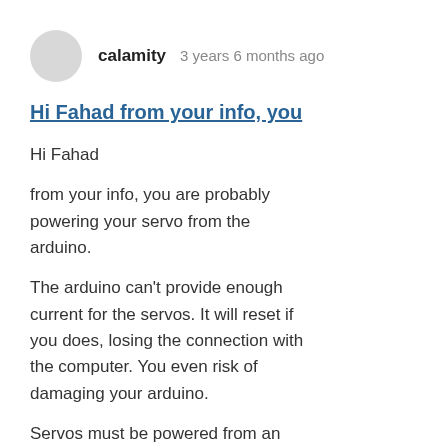calamity   3 years 6 months ago
Hi Fahad from your info, you
Hi Fahad
from your info, you are probably powering your servo from the arduino.
The arduino can't provide enough current for the servos. It will reset if you does, losing the connection with the computer. You even risk of damaging your arduino.
Servos must be powered from an